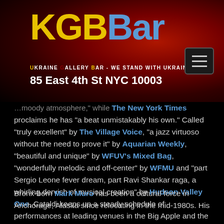[Figure (logo): KGB Bar logo with yellow KGB text and blue Bar text on dark red/black background, with Ukraine Gallery Bar tagline and address 85 East 4th St NYC 10003]
...moody atmosphere," while The New York Times proclaims he has "a beat unmistakably his own." Called "truly excellent" by The Village Voice, "a jazz virtuoso without the need to prove it" by Aquarian Weekly, "beautiful and unique" by WFUV's Mixed Bag, "wonderfully melodic and off-center" by WFMU and "part Sergio Leone fever dream, part Ravi Shankar raga, a whirling dervish of musical creation" by Hudson Valley One, Cataldi keeps up a steady schedule of performances at leading venues in the Big Apple and the Hudson Valley.
Bronx-born Mark Muro has been a cultural force in Anchorage, Alaska since relocating in the mid-1980s. His